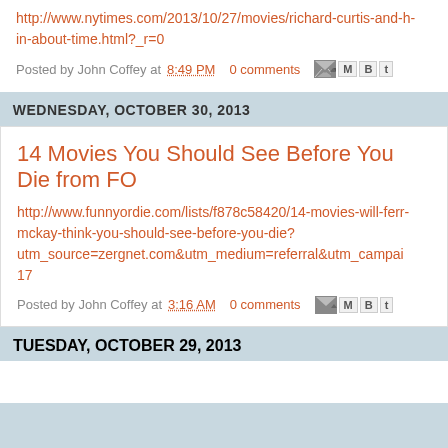http://www.nytimes.com/2013/10/27/movies/richard-curtis-and-h-in-about-time.html?_r=0
Posted by John Coffey at 8:49 PM   0 comments
WEDNESDAY, OCTOBER 30, 2013
14 Movies You Should See Before You Die from FO
http://www.funnyordie.com/lists/f878c58420/14-movies-will-ferr-mckay-think-you-should-see-before-you-die?utm_source=zergnet.com&utm_medium=referral&utm_campai-17
Posted by John Coffey at 3:16 AM   0 comments
TUESDAY, OCTOBER 29, 2013